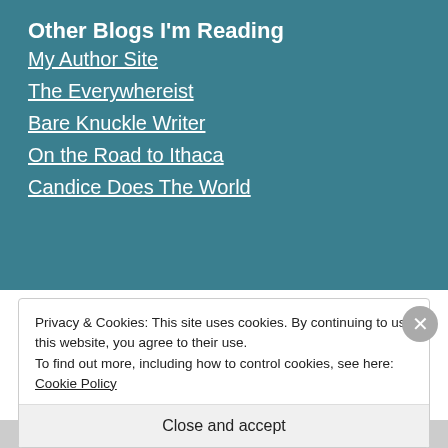Other Blogs I'm Reading
My Author Site
The Everywhereist
Bare Knuckle Writer
On the Road to Ithaca
Candice Does The World
Privacy & Cookies: This site uses cookies. By continuing to use this website, you agree to their use.
To find out more, including how to control cookies, see here: Cookie Policy
Close and accept